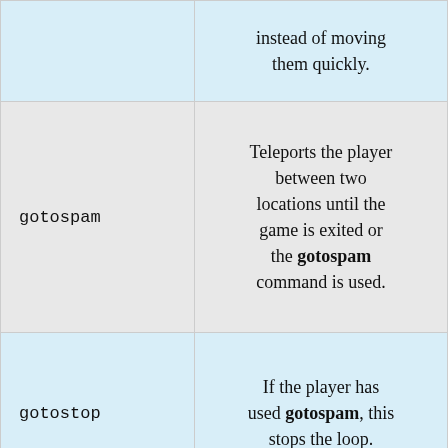| Command | Description |
| --- | --- |
|  | instead of moving them quickly. |
| gotospam | Teleports the player between two locations until the game is exited or the gotospam command is used. |
| gotostop | If the player has used gotospam, this stops the loop. |
|  | Teleports the player half a |